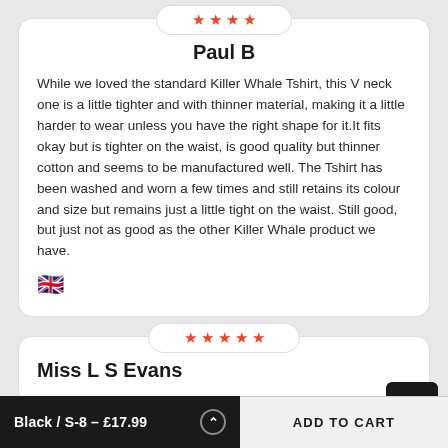[Figure (other): 4-star rating badge (orange stars) for review by Paul B]
Paul B
While we loved the standard Killer Whale Tshirt, this V neck one is a little tighter and with thinner material, making it a little harder to wear unless you have the right shape for it.It fits okay but is tighter on the waist, is good quality but thinner cotton and seems to be manufactured well. The Tshirt has been washed and worn a few times and still retains its colour and size but remains just a little tight on the waist. Still good, but just not as good as the other Killer Whale product we have.
[Figure (illustration): UK flag emoji]
[Figure (other): 5-star rating badge (orange stars) for review by Miss L S Evans]
Miss L S Evans
Black / S-8 - £17.99
ADD TO CART